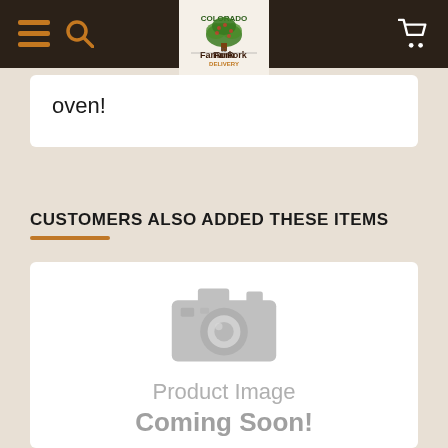[Figure (screenshot): Colorado Farm Fork Delivery website navigation bar with hamburger menu, search icon, logo, and cart icon on dark brown background]
oven!
CUSTOMERS ALSO ADDED THESE ITEMS
[Figure (photo): Product image placeholder showing a camera icon with text 'Product Image Coming Soon!' in gray on white background]